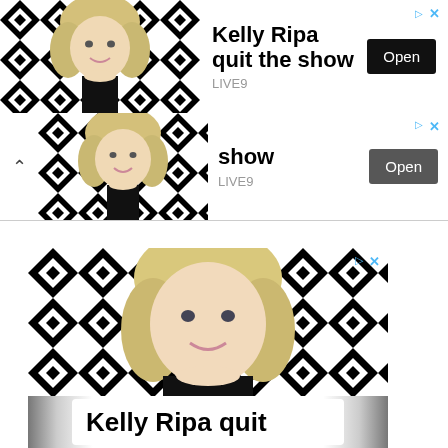[Figure (screenshot): Top ad banner 1: Kelly Ripa photo with black-and-white geometric pattern background, text 'Kelly Ripa quit the show', 'LIVE9', Open button, ad icons]
[Figure (screenshot): Top ad banner 2 (partially visible/scrolled): Kelly Ripa photo with pattern, text 'show', 'LIVE9', Open button, chevron up]
[Figure (screenshot): Large ad unit: Kelly Ripa larger photo with pattern background, ad icons, lower panel with text 'Kelly Ripa quit']